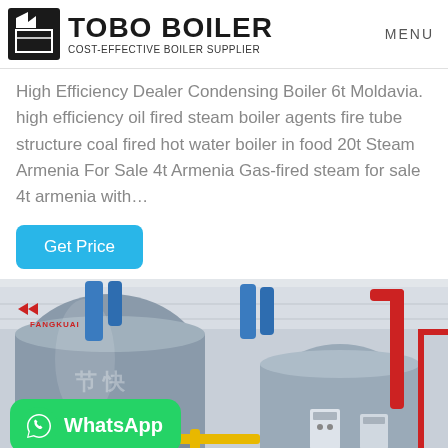TOBO BOILER — COST-EFFECTIVE BOILER SUPPLIER | MENU
High Efficiency Dealer Condensing Boiler 6t Moldavia. high efficiency oil fired steam boiler agents fire tube structure coal fired hot water boiler in food 20t Steam Armenia For Sale 4t Armenia Gas-fired steam for sale 4t armenia with…
Get Price
[Figure (photo): Industrial boiler room showing large cylindrical silver/grey boilers (branded FANGKUAI) with blue, red, and yellow pipe fittings. WhatsApp contact badge overlaid at bottom left.]